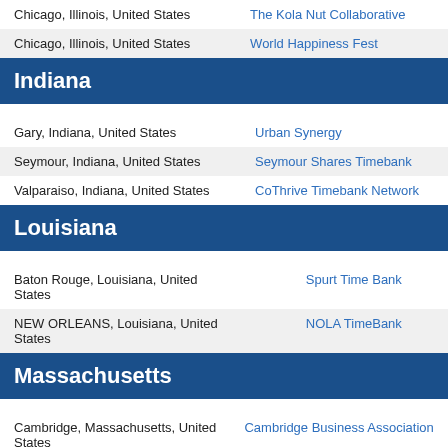| Location | Organization |
| --- | --- |
| Chicago, Illinois, United States | The Kola Nut Collaborative |
| Chicago, Illinois, United States | World Happiness Fest |
Indiana
| Location | Organization |
| --- | --- |
| Gary, Indiana, United States | Urban Synergy |
| Seymour, Indiana, United States | Seymour Shares Timebank |
| Valparaiso, Indiana, United States | CoThrive Timebank Network |
Louisiana
| Location | Organization |
| --- | --- |
| Baton Rouge, Louisiana, United States | Spurt Time Bank |
| NEW ORLEANS, Louisiana, United States | NOLA TimeBank |
Massachusetts
| Location | Organization |
| --- | --- |
| Cambridge, Massachusetts, United States | Cambridge Business Association |
| Hubbardston, Massachusetts, | Community Builders of Massach… |